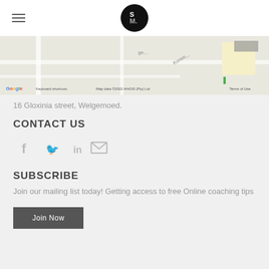SM. logo and navigation
[Figure (screenshot): Google Maps snippet showing street map with Keyboard shortcuts, Map data ©2022 AfriGIS (Pty) Ltd, Terms of Use]
16 Gloxinia street, Welgemoed.
CONTACT US
[Figure (infographic): Social media icons: Facebook, Twitter, LinkedIn, Email]
SUBSCRIBE
Join our mailing list today! Getting access to free Online coaching tips
Join Now